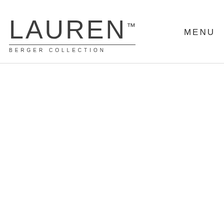LAUREN™ BERGER COLLECTION  MENU